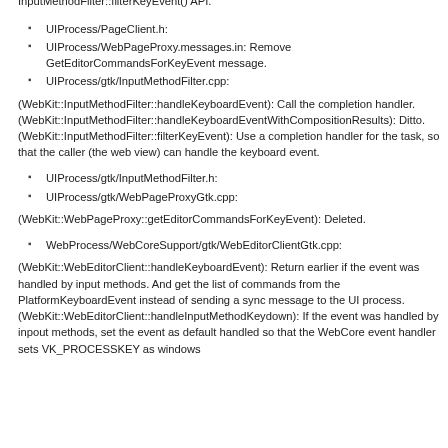InputMethodFilter::filterKeyEvent() API.
UIProcess/PageClient.h:
UIProcess/WebPageProxy.messages.in: Remove GetEditorCommandsForKeyEvent message.
UIProcess/gtk/InputMethodFilter.cpp:
(WebKit::InputMethodFilter::handleKeyboardEvent): Call the completion handler.
(WebKit::InputMethodFilter::handleKeyboardEventWithCompositionResults): Ditto.
(WebKit::InputMethodFilter::filterKeyEvent): Use a completion handler for the task, so that the caller (the web view) can handle the keyboard event.
UIProcess/gtk/InputMethodFilter.h:
UIProcess/gtk/WebPageProxyGtk.cpp:
(WebKit::WebPageProxy::getEditorCommandsForKeyEvent): Deleted.
WebProcess/WebCoreSupport/gtk/WebEditorClientGtk.cpp:
(WebKit::WebEditorClient::handleKeyboardEvent): Return earlier if the event was handled by input methods. And get the list of commands from the PlatformKeyboardEvent instead of sending a sync message to the UI process.
(WebKit::WebEditorClient::handleInputMethodKeydown): If the event was handled by inpout methods, set the event as default handled so that the WebCore event handler sets VK_PROCESSKEY as windows